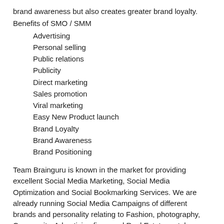brand awareness but also creates greater brand loyalty.
Benefits of SMO / SMM
Advertising
Personal selling
Public relations
Publicity
Direct marketing
Sales promotion
Viral marketing
Easy New Product launch
Brand Loyalty
Brand Awareness
Brand Positioning
Team Brainguru is known in the market for providing excellent Social Media Marketing, Social Media Optimization and Social Bookmarking Services. We are already running Social Media Campaigns of different brands and personality relating to Fashion, photography, Community, Advertising firms and Real Estate portals.
We welcome your queries and suggestions regarding SMO /